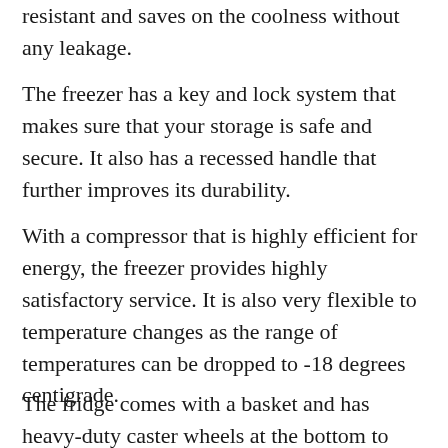resistant and saves on the coolness without any leakage.
The freezer has a key and lock system that makes sure that your storage is safe and secure. It also has a recessed handle that further improves its durability.
With a compressor that is highly efficient for energy, the freezer provides highly satisfactory service. It is also very flexible to temperature changes as the range of temperatures can be dropped to -18 degrees centigrade.
The fridge comes with a basket and has heavy-duty caster wheels at the bottom to ensure its mobility.